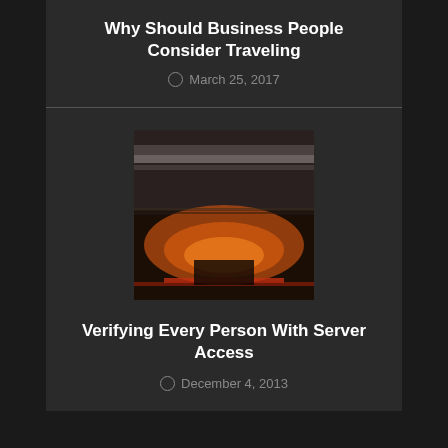Why Should Business People Consider Traveling
March 25, 2017
[Figure (photo): Blurred motion photograph of a car or vehicle on a road at sunset/night, showing streaks of light in orange and red tones against a dark background]
Verifying Every Person With Server Access
December 4, 2013
Subscribe to RSS Feeds